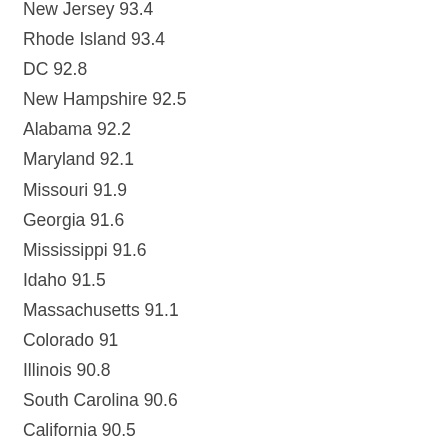New Jersey 93.4
Rhode Island 93.4
DC 92.8
New Hampshire 92.5
Alabama 92.2
Maryland 92.1
Missouri 91.9
Georgia 91.6
Mississippi 91.6
Idaho 91.5
Massachusetts 91.1
Colorado 91
Illinois 90.8
South Carolina 90.6
California 90.5
South Dakota 90.4
Florida 90.1